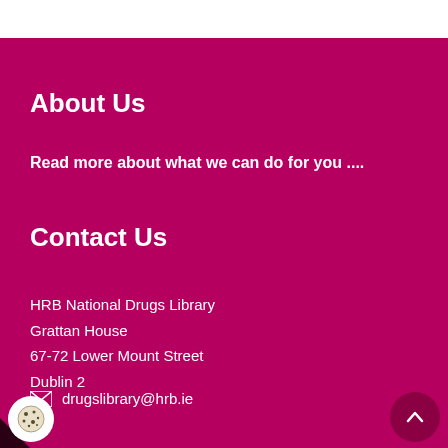About Us
Read more about what we can do for you ....
Contact Us
HRB National Drugs Library
Grattan House
67-72 Lower Mount Street
Dublin 2
drugslibrary@hrb.ie